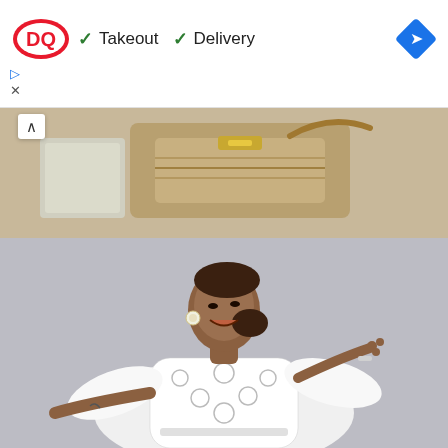[Figure (logo): Dairy Queen (DQ) logo in red and white oval]
✓ Takeout   ✓ Delivery
[Figure (illustration): Blue diamond navigation/directions icon]
[Figure (photo): Photo of decorative handbag, possibly woven/print fabric, on a surface near white clothing]
[Figure (photo): Photo of a Black woman in a white lace/embroidered off-shoulder dress with flared sleeves, looking up joyfully, arms outstretched, against a grey background]